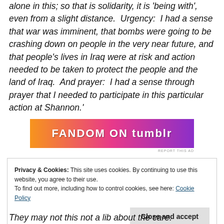alone in this; so that is solidarity, it is 'being with', even from a slight distance.  Urgency:  I had a sense that war was imminent, that bombs were going to be crashing down on people in the very near future, and that people's lives in Iraq were at risk and action needed to be taken to protect the people and the land of Iraq.  And prayer:  I had a sense through prayer that I needed to participate in this particular action at Shannon.'
[Figure (other): Advertisement banner with orange to purple gradient background and text 'FANDOM ON tumblr']
Privacy & Cookies: This site uses cookies. By continuing to use this website, you agree to their use. To find out more, including how to control cookies, see here: Cookie Policy
They may not this not a lib about the care.